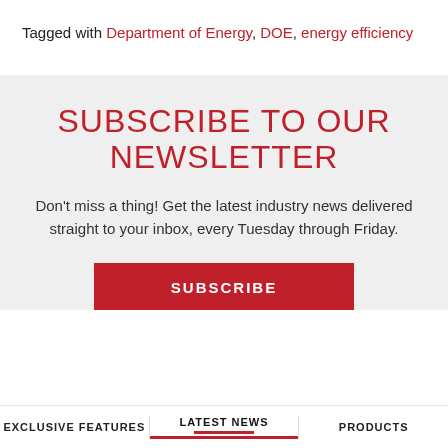Tagged with Department of Energy, DOE, energy efficiency
SUBSCRIBE TO OUR NEWSLETTER
Don't miss a thing! Get the latest industry news delivered straight to your inbox, every Tuesday through Friday.
SUBSCRIBE
EXCLUSIVE FEATURES   LATEST NEWS   PRODUCTS